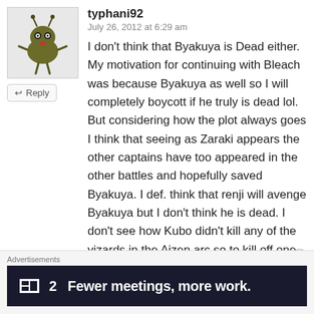[Figure (illustration): Cartoon avatar of a green alien-like creature with antennae, eyes, and small limbs on a light gray background]
typhani92
July 26, 2012 at 6:29 am
I don't think that Byakuya is Dead either. My motivation for continuing with Bleach was because Byakuya as well so I will completely boycott if he truly is dead lol. But considering how the plot always goes I think that seeing as Zaraki appears the other captains have too appeared in the other battles and hopefully saved Byakuya. I def. think that renji will avenge Byakuya but I don't think he is dead. I don't see how Kubo didn't kill any of the vizards in the Aizen arc so to kill off one of the popular characters(imo)........how rash T_T
↩ Reply
Advertisements
[Figure (screenshot): Dark advertisement banner reading '▪2  Fewer meetings, more work.']